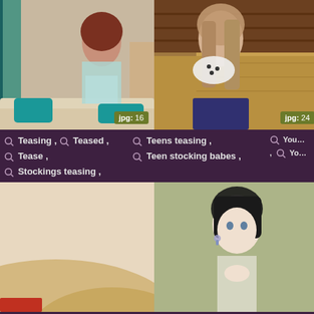[Figure (photo): Thumbnail image 1 with jpg:16 badge]
[Figure (photo): Thumbnail image 2 with jpg:24 badge]
[Figure (photo): Partially visible third thumbnail column top]
Teasing , Teased , Tease , Stockings teasing ,
Teens teasing , Teen stocking babes ,
You... , Yo...
[Figure (photo): Bottom left thumbnail]
[Figure (photo): Bottom center thumbnail]
[Figure (photo): Bottom right partially visible thumbnail]